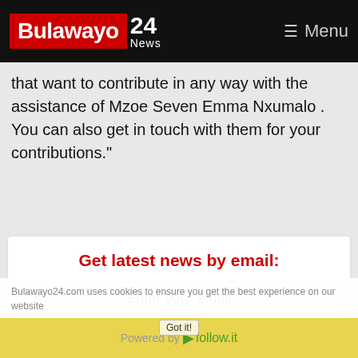Bulawayo 24 News — Menu
that want to contribute in any way with the assistance of Mzoe Seven Emma Nxumalo . You can also get in touch with them for your contributions."
Get latest news by email:
Enter your email
Subscribe
Bulawayo24.com uses cookies to ensure you get the best experience on our website
Got it!
Powered by follow.it